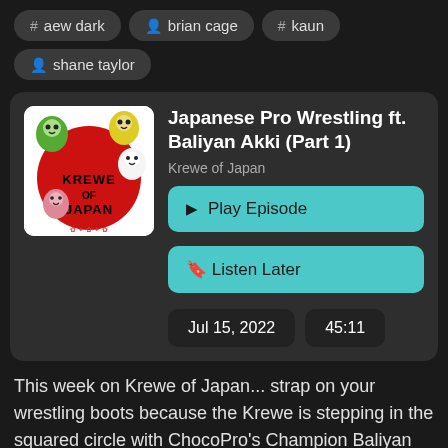# aew dark
person brian cage
# kaun
person shane taylor
[Figure (illustration): Krewe of Japan podcast cover art showing cartoon daruma dolls on a red circle with the text KREWE OF JAPAN]
Japanese Pro Wrestling ft. Baliyan Akki (Part 1)
Krewe of Japan
▶ Play Episode
☐ Listen Later
Jul 15, 2022
45:11
This week on Krewe of Japan... strap on your wrestling boots because the Krewe is stepping in the squared circle with ChocoPro's Champion Baliyan